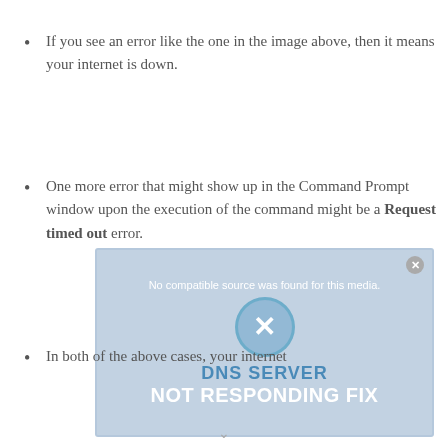If you see an error like the one in the image above, then it means your internet is down.
One more error that might show up in the Command Prompt window upon the execution of the command might be a Request timed out error.
[Figure (screenshot): Video player overlay showing 'No compatible source was found for this media.' with a circular icon with X, DNS SERVER NOT RESPONDING FIX text]
In both of the above cases, your internet